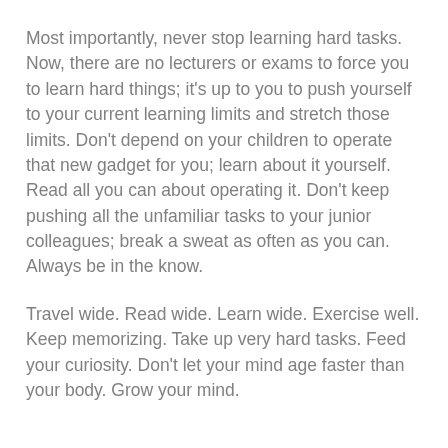Most importantly, never stop learning hard tasks. Now, there are no lecturers or exams to force you to learn hard things; it's up to you to push yourself to your current learning limits and stretch those limits. Don't depend on your children to operate that new gadget for you; learn about it yourself. Read all you can about operating it. Don't keep pushing all the unfamiliar tasks to your junior colleagues; break a sweat as often as you can. Always be in the know.
Travel wide. Read wide. Learn wide. Exercise well. Keep memorizing. Take up very hard tasks. Feed your curiosity. Don't let your mind age faster than your body. Grow your mind.